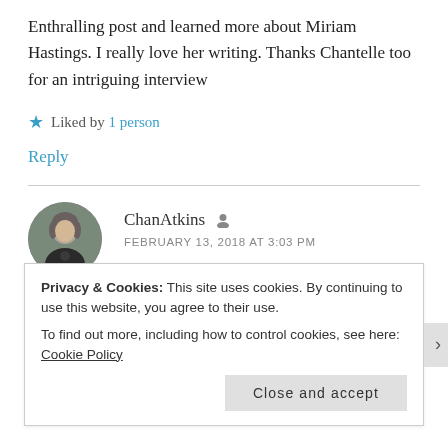Enthralling post and learned more about Miriam Hastings. I really love her writing. Thanks Chantelle too for an intriguing interview
★ Liked by 1 person
Reply
[Figure (photo): Circular avatar photo of ChanAtkins, a person with medium-length hair wearing a dark shirt]
ChanAtkins
FEBRUARY 13, 2018 AT 3:03 PM
Privacy & Cookies: This site uses cookies. By continuing to use this website, you agree to their use.
To find out more, including how to control cookies, see here: Cookie Policy
Close and accept